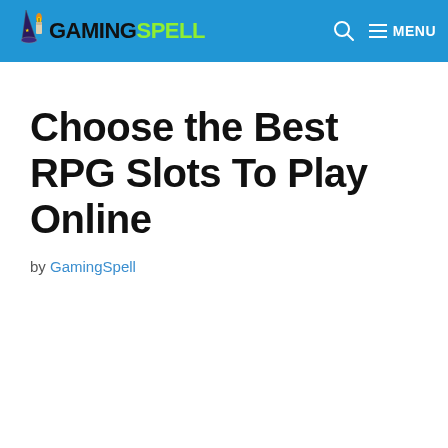GamingSpell — MENU
Choose the Best RPG Slots To Play Online
by GamingSpell